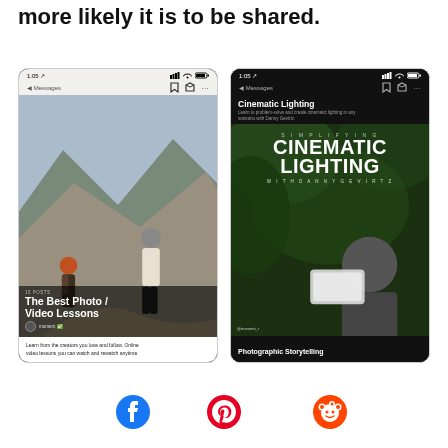more likely it is to be shared.
[Figure (screenshot): Two mobile phone screenshots showing Instagram-style content. Left: a light-mode phone showing 'The Best Photo / Video Lessons' collection by moment, with two people on a mountain path and caption 'Learn from the creators you love and follow. Online video lessons you can watch and rewatch anytime.' Right: a dark-mode phone showing 'Cinematic Lighting' card with 'Simplifying Cinematic Lighting with Danny Gevirtz' course thumbnail featuring a man with a light panel, and 'Photographic Storytelling' text at bottom.]
[Figure (logo): Facebook logo icon (circle with f)]
[Figure (logo): Pinterest logo icon (circle with P)]
[Figure (logo): Reddit logo icon (alien mascot in circle)]